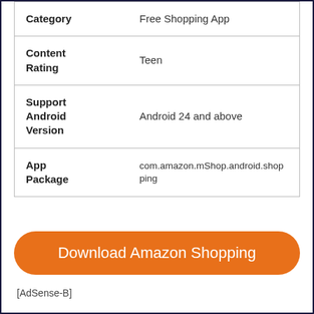| Field | Value |
| --- | --- |
| Category | Free Shopping App |
| Content Rating | Teen |
| Support Android Version | Android 24 and above |
| App Package | com.amazon.mShop.android.shopping |
Download Amazon Shopping
[AdSense-B]